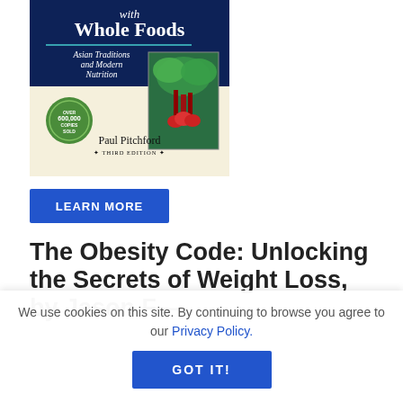[Figure (photo): Book cover of 'Healing with Whole Foods: Asian Traditions and Modern Nutrition' by Paul Pitchford, Third Edition. Dark navy blue top with white serif title text, lower cream section with a photo of vegetables/radishes and a green badge reading 'Over 600,000 Copies Sold'.]
LEARN MORE
The Obesity Code: Unlocking the Secrets of Weight Loss, by Jason F...
We use cookies on this site. By continuing to browse you agree to our Privacy Policy.
GOT IT!